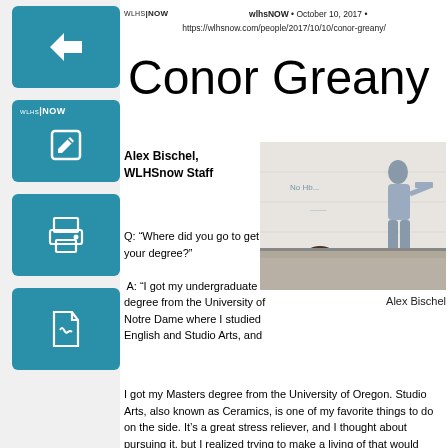wlhsNOW • October 10, 2017 • https://wlhsnow.com/people/2017/10/10/conor-greany/
Conor Greany
Alex Bischel,
WLHSnow Staff
[Figure (photo): A person writing on a whiteboard in a classroom with students seated in front]
Alex Bischel
Q: “Where did you go to get your degree?”

 A: “I got my undergraduate degree from the University of Notre Dame where I studied English and Studio Arts, and I got my Masters degree from the University of Oregon. Studio Arts, also known as Ceramics, is one of my favorite things to do on the side. It’s a great stress reliever, and I thought about pursuing it, but I realized trying to make a living of that would take the fun out of it and bring the stress